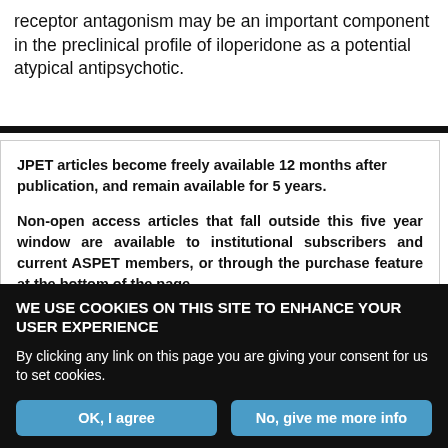receptor antagonism may be an important component in the preclinical profile of iloperidone as a potential atypical antipsychotic.
JPET articles become freely available 12 months after publication, and remain available for 5 years.
Non-open access articles that fall outside this five year window are available to institutional subscribers and current ASPET members, or through the purchase feature at the bottom of the page.
Click here for information on institutional subscriptions.
WE USE COOKIES ON THIS SITE TO ENHANCE YOUR USER EXPERIENCE
By clicking any link on this page you are giving your consent for us to set cookies.